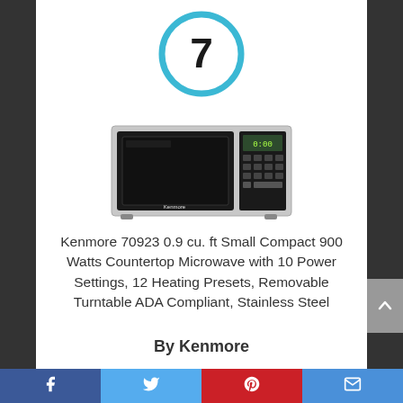[Figure (other): Number 7 inside a blue circle ring, serving as a ranking badge]
[Figure (photo): Photo of a Kenmore countertop microwave oven in stainless steel]
Kenmore 70923 0.9 cu. ft Small Compact 900 Watts Countertop Microwave with 10 Power Settings, 12 Heating Presets, Removable Turntable ADA Compliant, Stainless Steel
By Kenmore
Facebook | Twitter | Pinterest | Email